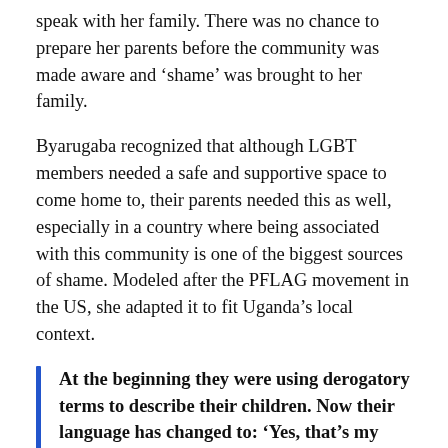speak with her family. There was no chance to prepare her parents before the community was made aware and ‘shame’ was brought to her family.
Byarugaba recognized that although LGBT members needed a safe and supportive space to come home to, their parents needed this as well, especially in a country where being associated with this community is one of the biggest sources of shame. Modeled after the PFLAG movement in the US, she adapted it to fit Uganda’s local context.
At the beginning they were using derogatory terms to describe their children. Now their language has changed to: ‘Yes, that’s my child. That’s my child’ - Clare Byarugaba
PFLAG in Uganda offers parents a safe space where